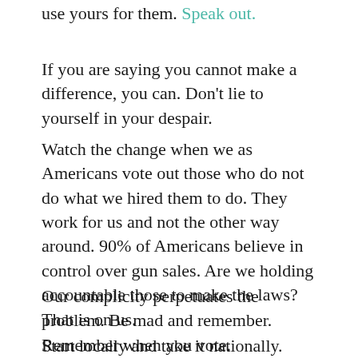use yours for them. Speak out.
If you are saying you cannot make a difference, you can. Don't lie to yourself in your despair.
Watch the change when we as Americans vote out those who do not do what we hired them to do. They work for us and not the other way around. 90% of Americans believe in control over gun sales. Are we holding accountable those to make the laws? That is on us.
Our complicity perpetuates the problem. Be mad and remember. Remember when you vote.
Start locally and take it nationally. Don't forget, because those in Uvalde, Parkland, Columbine, and